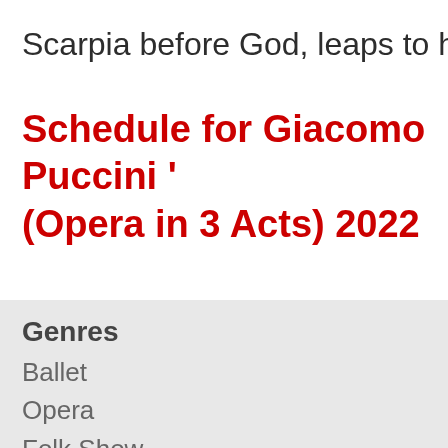Scarpia before God, leaps to her d
Schedule for Giacomo Puccini 'Tosca' (Opera in 3 Acts) 2022
Genres
Ballet
Opera
Folk Show